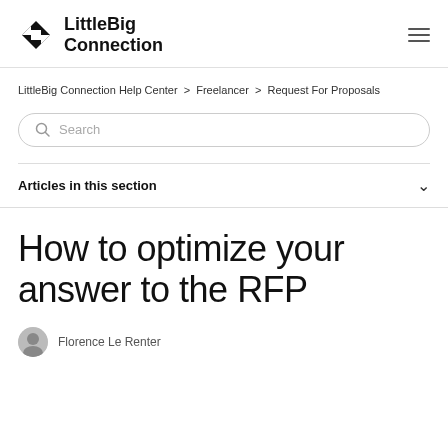LittleBig Connection
LittleBig Connection Help Center > Freelancer > Request For Proposals
[Figure (other): Search bar with magnifying glass icon and placeholder text 'Search']
Articles in this section
How to optimize your answer to the RFP
Florence Le Renter